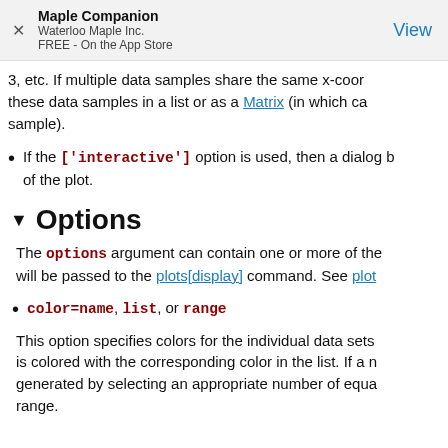Maple Companion
Waterloo Maple Inc.
FREE - On the App Store
View
3, etc. If multiple data samples share the same x-coor these data samples in a list or as a Matrix (in which ca sample).
If the ['interactive'] option is used, then a dialog b of the plot.
Options
The options argument can contain one or more of the will be passed to the plots[display] command. See plot
color=name, list, or range
This option specifies colors for the individual data sets is colored with the corresponding color in the list. If a n generated by selecting an appropriate number of equa range.